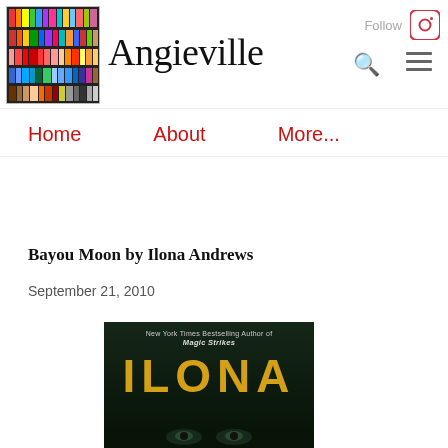[Figure (screenshot): Angieville blog header with colorful bookshelf logo image on the left, site title 'Angieville' in large serif font in the center, and Follow with Instagram icon on the top right, plus search and hamburger menu icons]
Home   About   More...
Bayou Moon by Ilona Andrews
September 21, 2010
[Figure (photo): Partial book cover of 'Bayou Moon' by Ilona Andrews — dark background with 'New York Times Bestselling Author of Magic Strikes' at top, author name 'ILONA' in large gold letters, and a pair of eyes visible at the bottom]